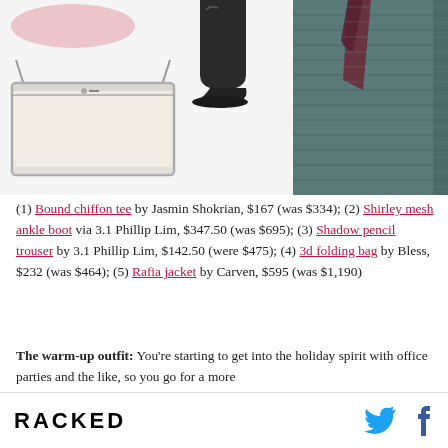[Figure (photo): Fashion items collage: pink top, silver clutch bag, high heel boots, and teal/grey textured jacket]
(1) Bound chiffon tee by Jasmin Shokrian, $167 (was $334); (2) Shirley mesh ankle boot via 3.1 Phillip Lim, $347.50 (was $695); (3) Shadow pencil trouser by 3.1 Phillip Lim, $142.50 (were $475); (4) 3d folding bag by Bless, $232 (was $464); (5) Rafia jacket by Carven, $595 (was $1,190)
The warm-up outfit: You're starting to get into the holiday spirit with office parties and the like, so you go for a more
RACKED